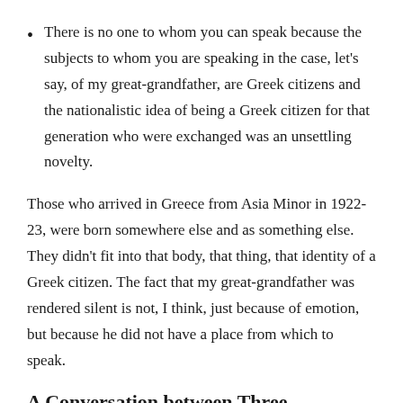There is no one to whom you can speak because the subjects to whom you are speaking in the case, let's say, of my great-grandfather, are Greek citizens and the nationalistic idea of being a Greek citizen for that generation who were exchanged was an unsettling novelty.
Those who arrived in Greece from Asia Minor in 1922-23, were born somewhere else and as something else. They didn't fit into that body, that thing, that identity of a Greek citizen. The fact that my great-grandfather was rendered silent is not, I think, just because of emotion, but because he did not have a place from which to speak.
A Conversation between Three